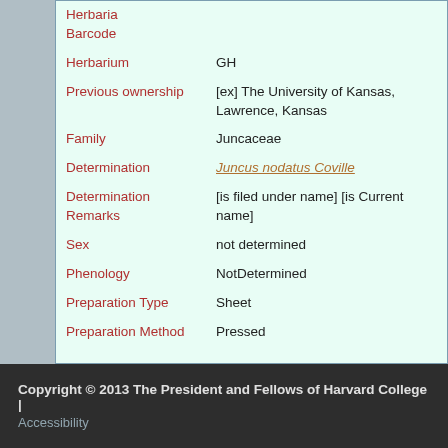| Field | Value |
| --- | --- |
| Herbaria Barcode |  |
| Herbarium | GH |
| Previous ownership | [ex] The University of Kansas, Lawrence, Kansas |
| Family | Juncaceae |
| Determination | Juncus nodatus Coville |
| Determination Remarks | [is filed under name] [is Current name] |
| Sex | not determined |
| Phenology | NotDetermined |
| Preparation Type | Sheet |
| Preparation Method | Pressed |
Copyright © 2013 The President and Fellows of Harvard College | Accessibility